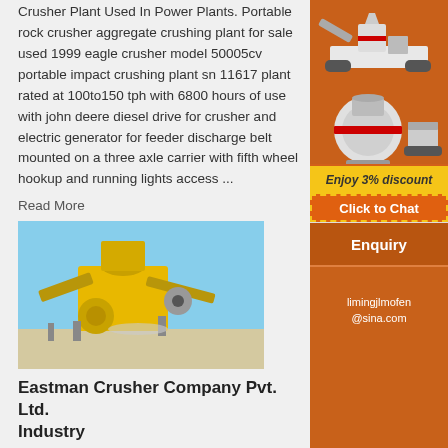Crusher Plant Used In Power Plants. Portable rock crusher aggregate crushing plant for sale used 1999 eagle crusher model 50005cv portable impact crushing plant sn 11617 plant rated at 100to150 tph with 6800 hours of use with john deere diesel drive for crusher and electric generator for feeder discharge belt mounted on a three axle carrier with fifth wheel hookup and running lights access ...
Read More
[Figure (photo): Photo of a portable rock crushing plant with yellow heavy machinery including a cone crusher and conveyor belts, outdoors under a clear sky.]
Eastman Crusher Company Pvt. Ltd. Industry
Eastman make roll crusher, ring granulator, crusher etc are being used by mineral exploration companies. Apart from it's own products, Eastman has
[Figure (illustration): Advertisement banner showing crushing and grinding machines on orange background with 'Enjoy 3% discount' in yellow bar and 'Click to Chat' button.]
Enquiry
limingjlmofen@sina.com